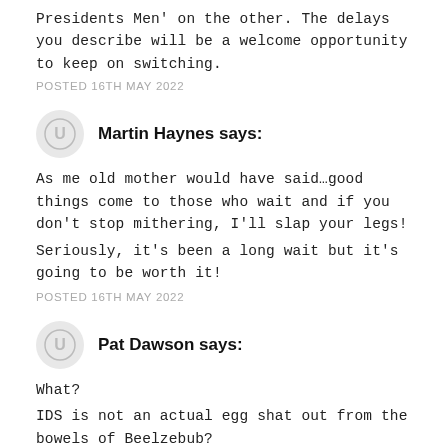Presidents Men' on the other. The delays you describe will be a welcome opportunity to keep on switching.
POSTED 16TH MAY 2022
Martin Haynes says:
As me old mother would have said…good things come to those who wait and if you don't stop mithering, I'll slap your legs! Seriously, it's been a long wait but it's going to be worth it!
POSTED 16TH MAY 2022
Pat Dawson says:
What? IDS is not an actual egg shat out from the bowels of Beelzebub? Must be either Bunter or Jacob Rees Tosspot then!? Thanks for the update Russ…looking forward to it.
POSTED 16TH MAY 2022
Pauline Gordon says: